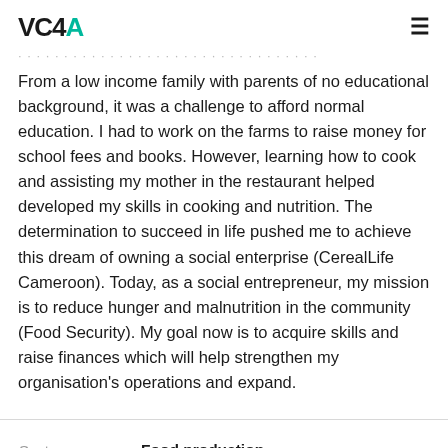VC4A
From a low income family with parents of no educational background, it was a challenge to afford normal education. I had to work on the farms to raise money for school fees and books. However, learning how to cook and assisting my mother in the restaurant helped developed my skills in cooking and nutrition. The determination to succeed in life pushed me to achieve this dream of owning a social enterprise (CerealLife Cameroon). Today, as a social entrepreneur, my mission is to reduce hunger and malnutrition in the community (Food Security). My goal now is to acquire skills and raise finances which will help strengthen my organisation's operations and expand.
|  |  |
| --- | --- |
| Sectors | Food production |
| Location | Yaoundé, Cameroon |